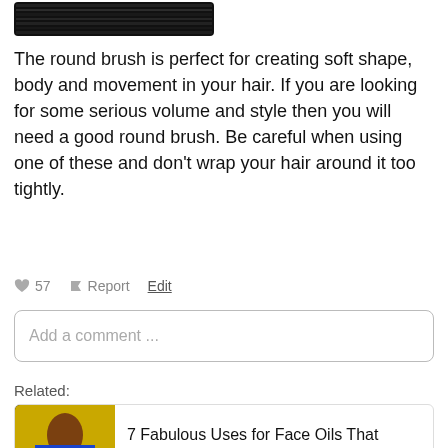[Figure (illustration): Black round hair brush image at top]
The round brush is perfect for creating soft shape, body and movement in your hair. If you are looking for some serious volume and style then you will need a good round brush. Be careful when using one of these and don't wrap your hair around it too tightly.
♥ 57   ⚑ Report   Edit
Add a comment ...
Related:
[Figure (photo): Woman with blue outfit thumbnail for related article]
7 Fabulous Uses for Face Oils That Solve the Most Common Beauty Woes ...
[Figure (photo): Lips close-up thumbnail for related article]
7 Incredible Lips Scrubs That You Can Make ...